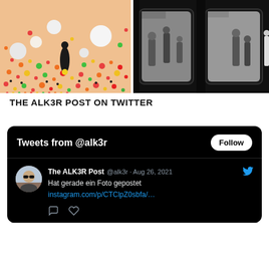[Figure (photo): Colorful balls installation art with person standing among many small and large spheres in pink, yellow, red, green colors]
[Figure (photo): Black and white street/subway photo showing people through a window or doorway]
THE ALK3R POST ON TWITTER
[Figure (screenshot): Twitter widget showing Tweets from @alk3r with a Follow button, and a tweet by The ALK3R Post dated Aug 26, 2021 saying 'Hat gerade ein Foto gepostet' with link instagram.com/p/CTClpZ0sbfa/...]